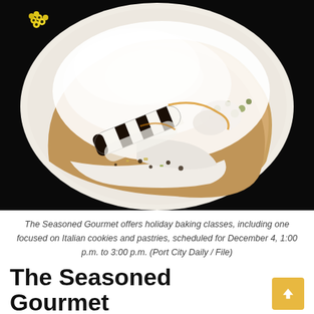[Figure (photo): A decorative plate of Italian pastry (likely cannoli or sfogliatelle) dusted heavily with powdered sugar, garnished with white cream filling, black and white chocolate cigarette rolls, pistachio crumbles, and yellow flowers, served on a white plate against a dark background.]
The Seasoned Gourmet offers holiday baking classes, including one focused on Italian cookies and pastries, scheduled for December 4, 1:00 p.m. to 3:00 p.m. (Port City Daily / File)
The Seasoned Gourmet Holiday Cooking Class